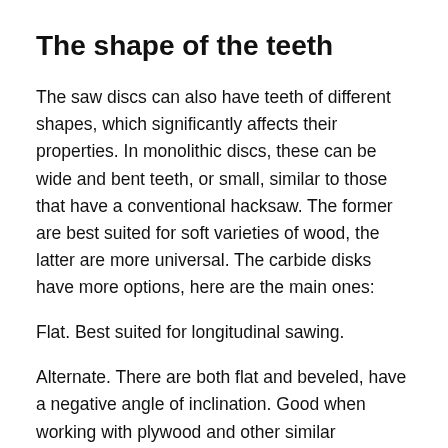The shape of the teeth
The saw discs can also have teeth of different shapes, which significantly affects their properties. In monolithic discs, these can be wide and bent teeth, or small, similar to those that have a conventional hacksaw. The former are best suited for soft varieties of wood, the latter are more universal. The carbide disks have more options, here are the main ones:
Flat. Best suited for longitudinal sawing.
Alternate. There are both flat and beveled, have a negative angle of inclination. Good when working with plywood and other similar materials, as well as with a longitudinal cut